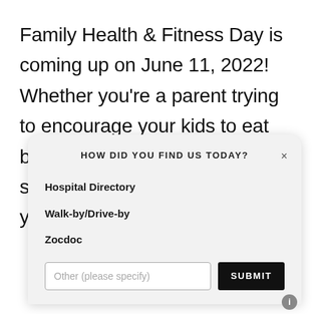Family Health & Fitness Day is coming up on June 11, 2022! Whether you're a parent trying to encourage your kids to eat better, a teacher who wants to start an exercise program in your classroom, or a coach
HOW DID YOU FIND US TODAY?
Hospital Directory
Walk-by/Drive-by
Zocdoc
Other (please specify) [input field] SUBMIT [button]